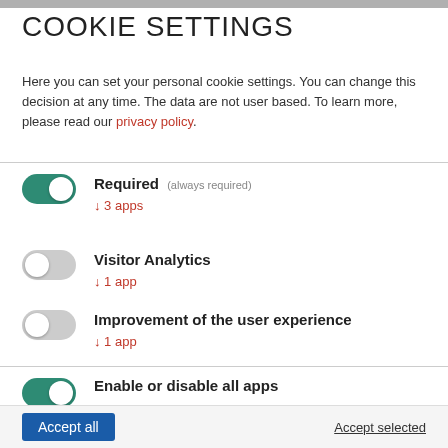COOKIE SETTINGS
Here you can set your personal cookie settings. You can change this decision at any time. The data are not user based. To learn more, please read our privacy policy.
Required (always required) ↓ 3 apps
Visitor Analytics ↓ 1 app
Improvement of the user experience ↓ 1 app
Enable or disable all apps — Use this switch to enable or disable all apps.
Accept all | Accept selected